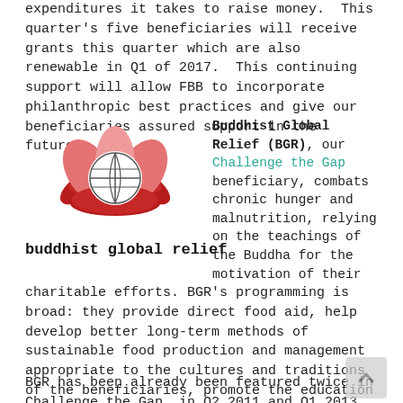expenditures it takes to raise money. This quarter's five beneficiaries will receive grants this quarter which are also renewable in Q1 of 2017. This continuing support will allow FBB to incorporate philanthropic best practices and give our beneficiaries assured support in the future.
[Figure (logo): Buddhist Global Relief lotus flower logo in red and pink with a white globe icon in the center]
buddhist global relief
Buddhist Global Relief (BGR), our Challenge the Gap beneficiary, combats chronic hunger and malnutrition, relying on the teachings of the Buddha for the motivation of their charitable efforts. BGR's programming is broad: they provide direct food aid, help develop better long-term methods of sustainable food production and management appropriate to the cultures and traditions of the beneficiaries, promote the education of girls and women, and give women an opportunity to support their families.
BGR has been already been featured twice in Challenge the Gap, in Q2 2011 and Q1 2013.